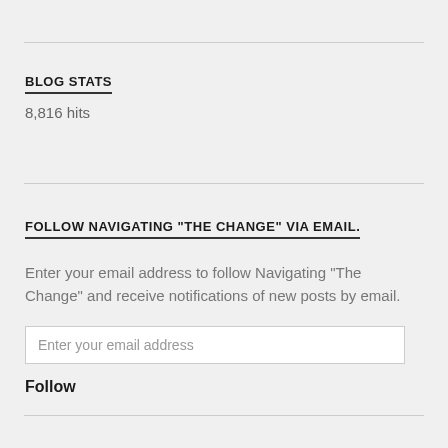BLOG STATS
8,816 hits
FOLLOW NAVIGATING "THE CHANGE" VIA EMAIL.
Enter your email address to follow Navigating "The Change" and receive notifications of new posts by email.
Enter your email address
Follow